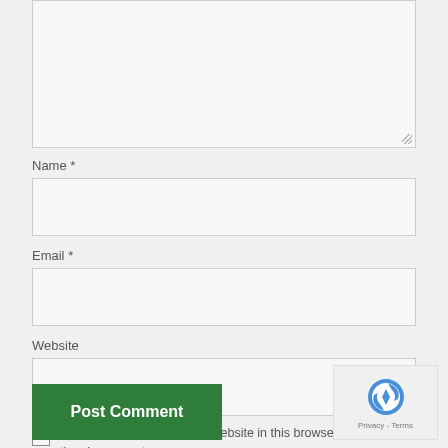[Figure (screenshot): Textarea stub (top portion of a comment text area, partially visible at top of page)]
Name *
[Figure (screenshot): Name input field (empty text input box)]
Email *
[Figure (screenshot): Email input field with two dot password-style characters visible]
Website
[Figure (screenshot): Website input field (empty text input box)]
[Figure (screenshot): Checkbox (unchecked)]
Save my name, email, and website in this browser for the next time I comment.
[Figure (screenshot): Post Comment button (green)]
[Figure (screenshot): reCAPTCHA badge with logo and Privacy - Terms text]